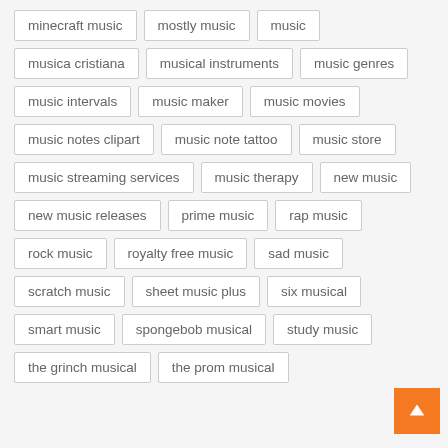minecraft music
mostly music
music
musica cristiana
musical instruments
music genres
music intervals
music maker
music movies
music notes clipart
music note tattoo
music store
music streaming services
music therapy
new music
new music releases
prime music
rap music
rock music
royalty free music
sad music
scratch music
sheet music plus
six musical
smart music
spongebob musical
study music
the grinch musical
the prom musical